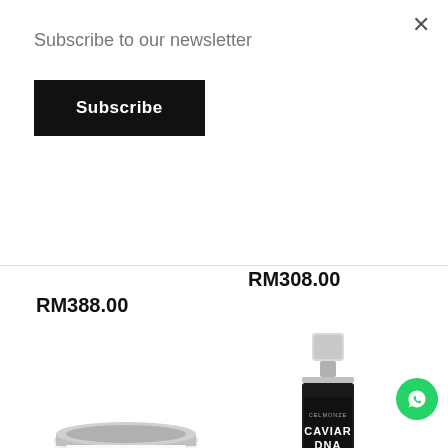Subscribe to our newsletter
Subscribe
RM308.00
RM388.00
[Figure (photo): Celmonze C-Renewal face cream in white jar with silver lid]
[Figure (photo): Caviar DNA serum in black and silver bottle]